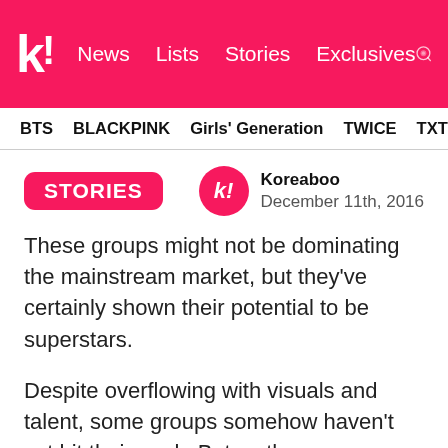k! News Lists Stories Exclusives
BTS BLACKPINK Girls' Generation TWICE TXT SEVE
STORIES
Koreaboo
December 11th, 2016
These groups might not be dominating the mainstream market, but they've certainly shown their potential to be superstars.
Despite overflowing with visuals and talent, some groups somehow haven't yet hit their peak. But as the new year approaches, so does the chance for underrated groups to receive more exposure and appreciation for their hard work and talent. Here are five groups who are